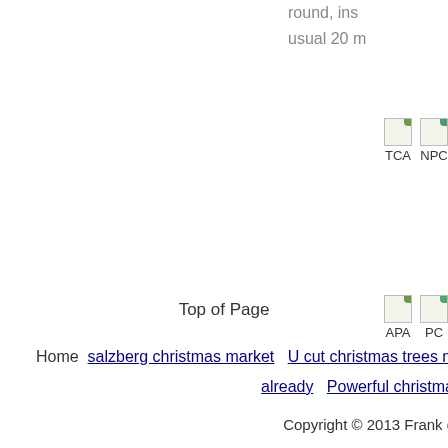round, ins usual 20 m
[Figure (other): TCA icon/badge image (partially visible)]
[Figure (other): NPC icon/badge image (partially visible)]
[Figure (other): APA icon/badge image (partially visible)]
[Figure (other): PC icon/badge image (partially visible)]
[Figure (other): Tiltup icon/badge image (partially visible)]
[Figure (other): AL icon/badge image (partially visible)]
Top of Page
Home  salzberg christmas market  U cut christmas trees medford o already  Powerful christmas song  brighten merry ch
Copyright © 2013 Frank delima da christmas carol